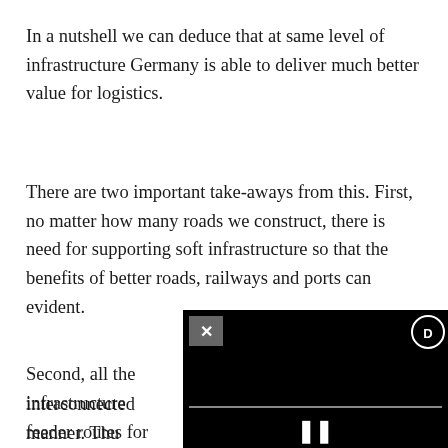In a nutshell we can deduce that at same level of infrastructure Germany is able to deliver much better value for logistics.
There are two important take-aways from this. First, no matter how many roads we construct, there is need for supporting soft infrastructure so that the benefits of better roads, railways and ports can evident.
Second, all the infrastructure [partially obscured] interconnected manner. Thu[s] feeder routes for cargo and p[assengers...]
[Figure (screenshot): A video player overlay UI element in black, showing a close (X) button top-left, a circular icon top-right, a progress/seek bar in the middle, and a pause (II) button at the bottom center.]